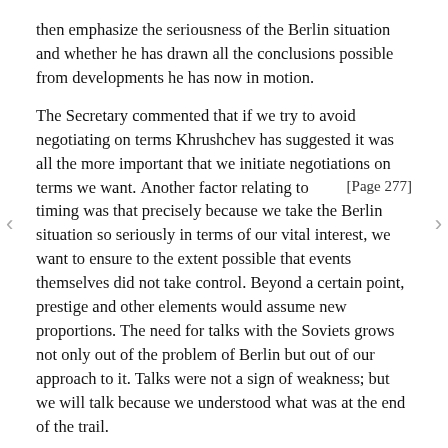then emphasize the seriousness of the Berlin situation and whether he has drawn all the conclusions possible from developments he has now in motion.
The Secretary commented that if we try to avoid negotiating on terms Khrushchev has suggested it was all the more important that we initiate negotiations on terms we want. [Page 277] Another factor relating to timing was that precisely because we take the Berlin situation so seriously in terms of our vital interest, we want to ensure to the extent possible that events themselves did not take control. Beyond a certain point, prestige and other elements would assume new proportions. The need for talks with the Soviets grows not only out of the problem of Berlin but out of our approach to it. Talks were not a sign of weakness; but we will talk because we understood what was at the end of the trail.
Home said he always kept coming back to the Soviet position that after the peace treaty, we must arrange access with the GDR. Our position then might well force on us a degree of de facto recognition of the GDR beyond what we want to concede. He agreed with the Secretary, that in the future the longer